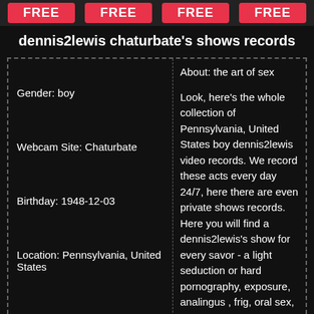[Figure (other): Four pink/red FREE buttons in a banner row at the top]
dennis2lewis chaturbate's shows records
Gender: boy
Webcam Site: Chaturbate
Birthday: 1948-12-03
Location: Pennsylvania, United States
About: the art of sex

Look, here's the whole collection of Pennsylvania, United States boy dennis2lewis video records. We record these acts every day 24/7, here there are even private shows records. Here you will find a dennis2lewis's show for every savor - a light seduction or hard pornography, exposure, analingus , frig, oral sex, nipple licking, toe licking ,